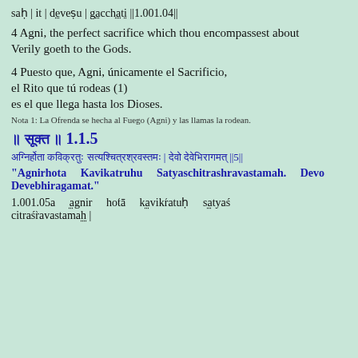saḥ | it | deveṣu | gacchati ||1.001.04||
4 Agni, the perfect sacrifice which thou encompassest about
Verily goeth to the Gods.
4 Puesto que, Agni, únicamente el Sacrificio,
el Rito que tú rodeas (1)
es el que llega hasta los Dioses.
Nota 1: La Ofrenda se hecha al Fuego (Agni) y las llamas la rodean.
॥ सूक्त ॥ 1.1.5
अग्निर्होता कविक्रतुः सत्यश्चित्रश्रवस्तमः | देवो देवेभिरागमत् ||5||
"Agnirhota Kavikatruhu Satyaschitrashravastamah. Devo Devebhiragamat."
1.001.05a  āgnir  hotā́  kāvikrátuḥ  sātyaś
citraśrávastamah |